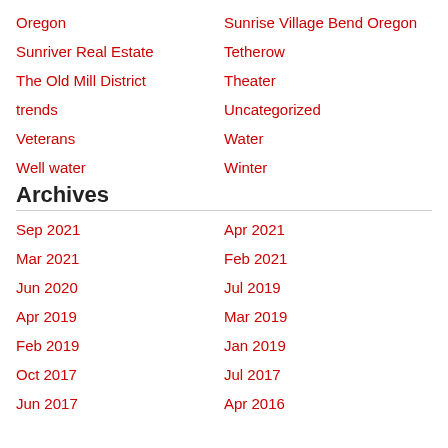Oregon
Sunrise Village Bend Oregon
Sunriver Real Estate
Tetherow
The Old Mill District
Theater
trends
Uncategorized
Veterans
Water
Well water
Winter
Archives
Sep 2021
Apr 2021
Mar 2021
Feb 2021
Jun 2020
Jul 2019
Apr 2019
Mar 2019
Feb 2019
Jan 2019
Oct 2017
Jul 2017
Jun 2017
Apr 2016